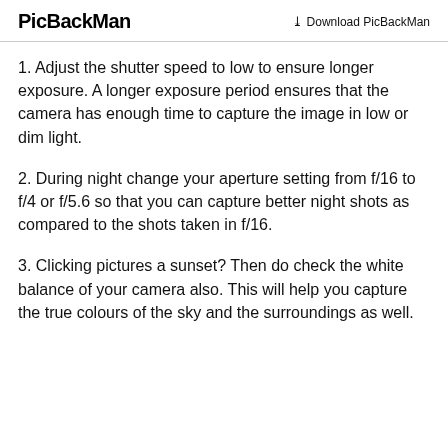PicBackMan | Download PicBackMan
1. Adjust the shutter speed to low to ensure longer exposure. A longer exposure period ensures that the camera has enough time to capture the image in low or dim light.
2. During night change your aperture setting from f/16 to f/4 or f/5.6 so that you can capture better night shots as compared to the shots taken in f/16.
3. Clicking pictures a sunset? Then do check the white balance of your camera also. This will help you capture the true colours of the sky and the surroundings as well.